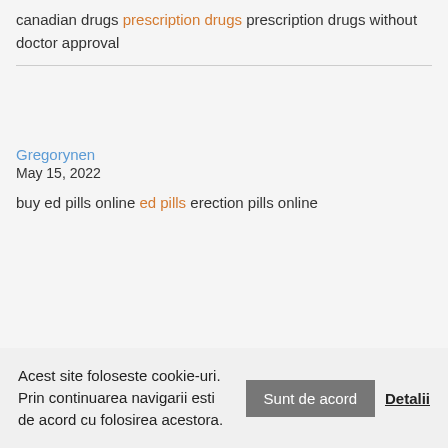canadian drugs prescription drugs prescription drugs without doctor approval
Gregorynen
May 15, 2022
buy ed pills online ed pills erection pills online
Acest site foloseste cookie-uri. Prin continuarea navigarii esti de acord cu folosirea acestora. Sunt de acord Detalii